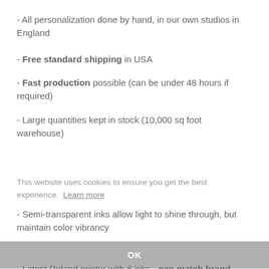- All personalization done by hand, in our own studios in England
- Free standard shipping in USA
- Fast production possible (can be under 48 hours if required)
- Large quantities kept in stock (10,000 sq foot warehouse)
This website uses cookies to ensure you get the best experience.  Learn more
- Semi-transparent inks allow light to shine through, but maintain color vibrancy
- Latest Roland printer with 8 inks - can match brand